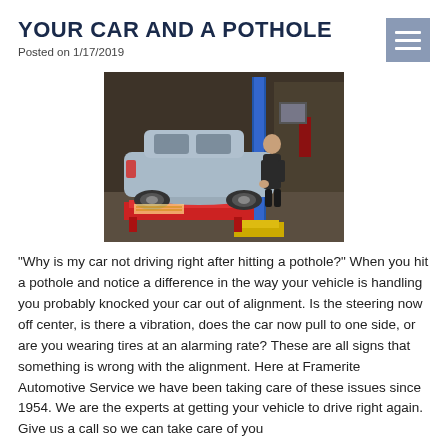YOUR CAR AND A POTHOLE
Posted on 1/17/2019
[Figure (photo): A mechanic working on a silver SUV lifted on red ramps in an automotive garage with a blue lift column visible in the background.]
“Why is my car not driving right after hitting a pothole?” When you hit a pothole and notice a difference in the way your vehicle is handling you probably knocked your car out of alignment. Is the steering now off center, is there a vibration, does the car now pull to one side, or are you wearing tires at an alarming rate? These are all signs that something is wrong with the alignment. Here at Framerite Automotive Service we have been taking care of these issues since 1954. We are the experts at getting your vehicle to drive right again. Give us a call so we can take care of you